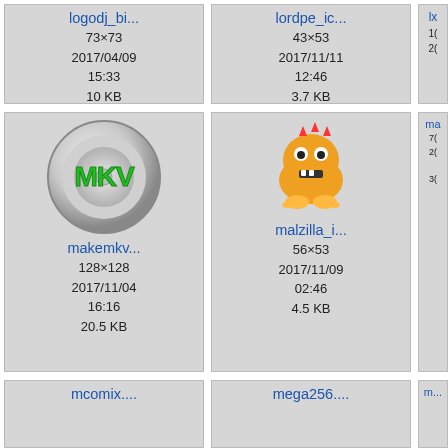[Figure (screenshot): File browser grid view showing icon tiles for files: logodj_bi... (73×73, 2017/04/09 15:33, 10 KB), lordpe_ic... (43×53, 2017/11/11 12:46, 3.7 KB), lx... (partially visible), makemkv... (128×128, 2017/11/04 16:16, 20.5 KB) with MKV disc icon, malzilla_i... (56×53, 2017/11/09 02:46, 4.5 KB) with monster icon, ma... (partially visible), mcomix... (partially visible, bottom), mega256... (partially visible, bottom), m... (partially visible, bottom)]